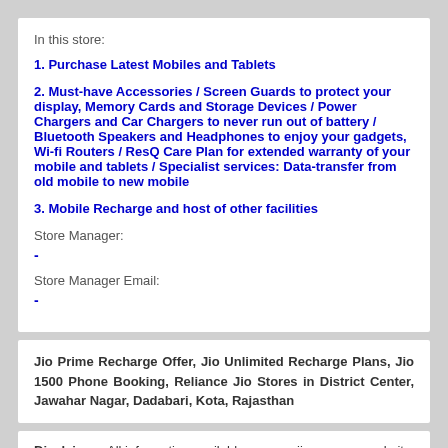In this store:
1. Purchase Latest Mobiles and Tablets
2. Must-have Accessories / Screen Guards to protect your display, Memory Cards and Storage Devices / Power Chargers and Car Chargers to never run out of battery / Bluetooth Speakers and Headphones to enjoy your gadgets, Wi-fi Routers / ResQ Care Plan for extended warranty of your mobile and tablets / Specialist services: Data-transfer from old mobile to new mobile
3. Mobile Recharge and host of other facilities
Store Manager:
-
Store Manager Email:
-
Jio Prime Recharge Offer, Jio Unlimited Recharge Plans, Jio 1500 Phone Booking, Reliance Jio Stores in District Center, Jawahar Nagar, Dadabari, Kota, Rajasthan
Disclaimer: All information available on www.jiocare.com website